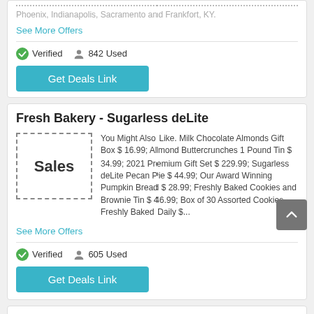Phoenix, Indianapolis, Sacramento and Frankfort, KY.
See More Offers
Verified   842 Used
Get Deals Link
Fresh Bakery - Sugarless deLite
[Figure (other): Sales placeholder image box with dashed border]
You Might Also Like. Milk Chocolate Almonds Gift Box $ 16.99; Almond Buttercrunches 1 Pound Tin $ 34.99; 2021 Premium Gift Set $ 229.99; Sugarless deLite Pecan Pie $ 44.99; Our Award Winning Pumpkin Bread $ 28.99; Freshly Baked Cookies and Brownie Tin $ 46.99; Box of 30 Assorted Cookies - Freshly Baked Daily $...
See More Offers
Verified   605 Used
Get Deals Link
Sugar-Free Bakery, Diabetic Sugar-Free Bakery